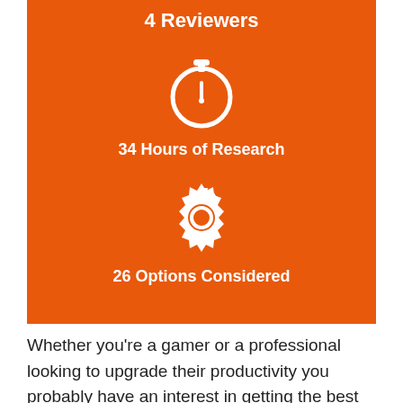4 Reviewers
[Figure (infographic): White stopwatch icon on orange background representing 34 Hours of Research]
34 Hours of Research
[Figure (infographic): White gear/settings icon on orange background representing 26 Options Considered]
26 Options Considered
Whether you're a gamer or a professional looking to upgrade their productivity you probably have an interest in getting the best 40